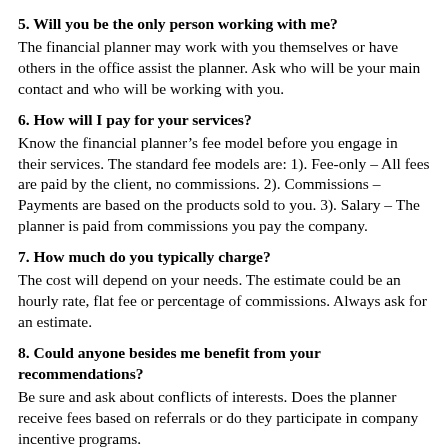5. Will you be the only person working with me?
The financial planner may work with you themselves or have others in the office assist the planner. Ask who will be your main contact and who will be working with you.
6. How will I pay for your services?
Know the financial planner’s fee model before you engage in their services. The standard fee models are: 1). Fee-only – All fees are paid by the client, no commissions. 2). Commissions – Payments are based on the products sold to you. 3). Salary – The planner is paid from commissions you pay the company.
7. How much do you typically charge?
The cost will depend on your needs. The estimate could be an hourly rate, flat fee or percentage of commissions. Always ask for an estimate.
8. Could anyone besides me benefit from your recommendations?
Be sure and ask about conflicts of interests. Does the planner receive fees based on referrals or do they participate in company incentive programs.
9. Have you ever been publicly disciplined for any unlawful or unethical actions in your professional career?